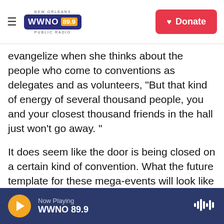NEW ORLEANS WWNO 89.9 PUBLIC RADIO | Donate
evangelize when she thinks about the people who come to conventions as delegates and as volunteers, "But that kind of energy of several thousand people, you and your closest thousand friends in the hall just won't go away. "
It does seem like the door is being closed on a certain kind of convention. What the future template for these mega-events will look like in the future is still unknown. A lot will likely be learned from how 2020's virtual conventions go, but no one believes that they will be the model for 2024 and beyond.
Now Playing WWNO 89.9